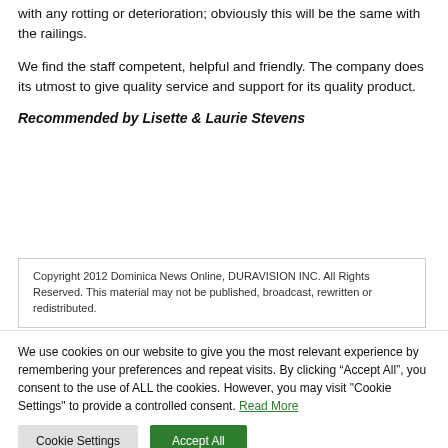with any rotting or deterioration; obviously this will be the same with the railings.
We find the staff competent, helpful and friendly. The company does its utmost to give quality service and support for its quality product.
Recommended by Lisette & Laurie Stevens
Copyright 2012 Dominica News Online, DURAVISION INC. All Rights Reserved. This material may not be published, broadcast, rewritten or redistributed.
We use cookies on our website to give you the most relevant experience by remembering your preferences and repeat visits. By clicking “Accept All”, you consent to the use of ALL the cookies. However, you may visit "Cookie Settings" to provide a controlled consent. Read More